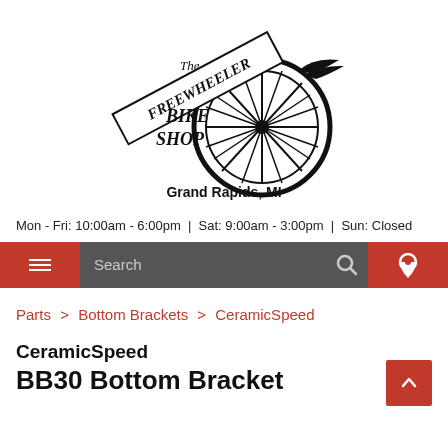[Figure (logo): The Freewheeler Bike Shop logo with bicycle wheel graphic and text 'Grand Rapids, MI']
Mon - Fri: 10:00am - 6:00pm  |  Sat: 9:00am - 3:00pm  |  Sun: Closed
Search
Parts > Bottom Brackets > CeramicSpeed
CeramicSpeed BB30 Bottom Bracket